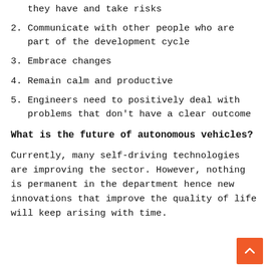they have and take risks
2. Communicate with other people who are part of the development cycle
3. Embrace changes
4. Remain calm and productive
5. Engineers need to positively deal with problems that don't have a clear outcome
What is the future of autonomous vehicles?
Currently, many self-driving technologies are improving the sector. However, nothing is permanent in the department hence new innovations that improve the quality of life will keep arising with time.